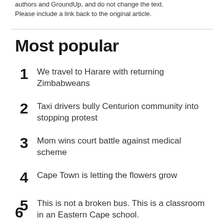authors and GroundUp, and do not change the text. Please include a link back to the original article.
Most popular
1 We travel to Harare with returning Zimbabweans
2 Taxi drivers bully Centurion community into stopping protest
3 Mom wins court battle against medical scheme
4 Cape Town is letting the flowers grow
5 This is not a broken bus. This is a classroom in an Eastern Cape school.